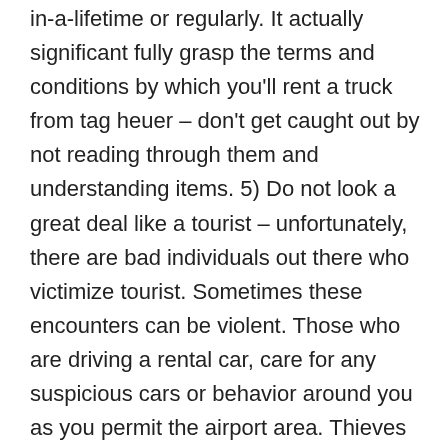in-a-lifetime or regularly. It actually significant fully grasp the terms and conditions by which you'll rent a truck from tag heuer – don't get caught out by not reading through them and understanding items. 5) Do not look a great deal like a tourist – unfortunately, there are bad individuals out there who victimize tourist. Sometimes these encounters can be violent. Those who are driving a rental car, care for any suspicious cars or behavior around you as you permit the airport area. Thieves have been known to rob unsuspecting tourist in rental cars. Also, be Firma im Ausland be pickpockets waiting for at any world destination. Family may be the utmost explanation why. There was one time my husband and I had a fight over finances and debts and along came an